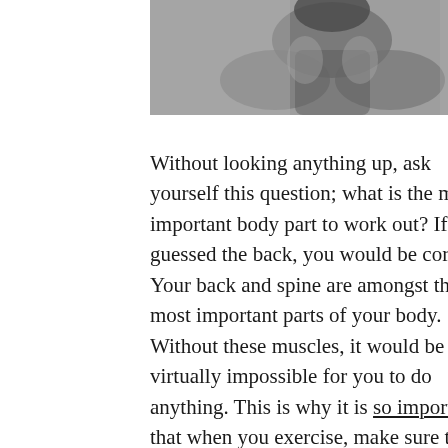[Figure (photo): Blurred black and white photo of a person's back/upper body, with a small red logo in the bottom right corner]
Without looking anything up, ask yourself this question; what is the most important body part to work out? If you guessed the back, you would be correct. Your back and spine are amongst the most important parts of your body. Without these muscles, it would be virtually impossible for you to do anything. This is why it is so important that when you exercise, make sure to work out your back as much as any other muscle. Our crew at Relentless Fitness did some